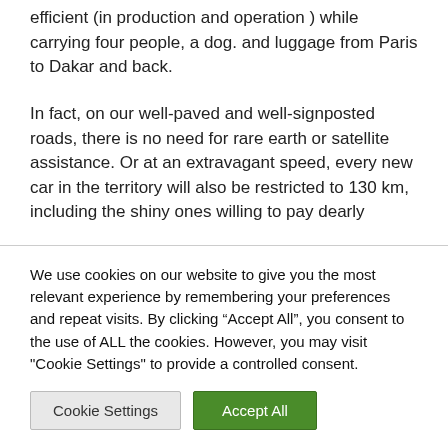efficient (in production and operation ) while carrying four people, a dog. and luggage from Paris to Dakar and back.
In fact, on our well-paved and well-signposted roads, there is no need for rare earth or satellite assistance. Or at an extravagant speed, every new car in the territory will also be restricted to 130 km, including the shiny ones willing to pay dearly
We use cookies on our website to give you the most relevant experience by remembering your preferences and repeat visits. By clicking “Accept All”, you consent to the use of ALL the cookies. However, you may visit "Cookie Settings" to provide a controlled consent.